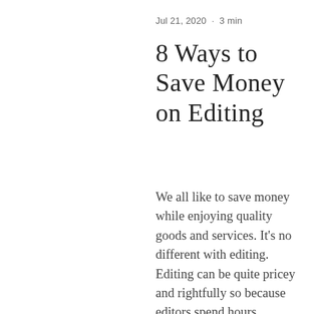Jul 21, 2020  ·  3 min
8 Ways to Save Money on Editing
We all like to save money while enjoying quality goods and services. It's no different with editing. Editing can be quite pricey and rightfully so because editors spend hours intensely focusing on each manuscript. But editing does not have to cost a ton of money. There are many ways to save money on editing as long as you are willing…